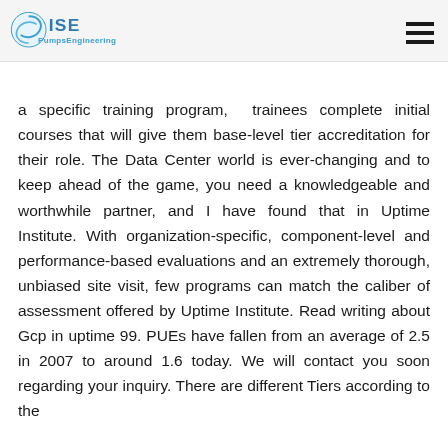ISE PumpsEngineering
a specific training program,  trainees complete initial courses that will give them base-level tier accreditation for their role. The Data Center world is ever-changing and to keep ahead of the game, you need a knowledgeable and worthwhile partner, and I have found that in Uptime Institute. With organization-specific, component-level and performance-based evaluations and an extremely thorough, unbiased site visit, few programs can match the caliber of assessment offered by Uptime Institute. Read writing about Gcp in uptime 99. PUEs have fallen from an average of 2.5 in 2007 to around 1.6 today. We will contact you soon regarding your inquiry. There are different Tiers according to the